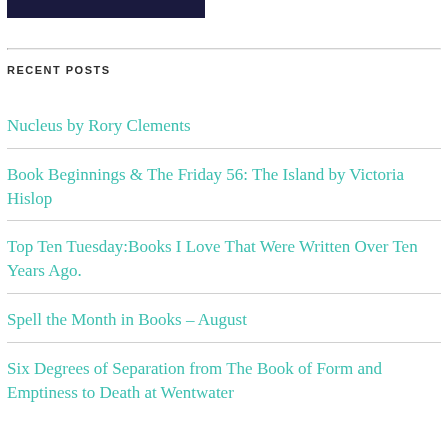[Figure (photo): Dark blue/purple image banner at top of page]
RECENT POSTS
Nucleus by Rory Clements
Book Beginnings & The Friday 56: The Island by Victoria Hislop
Top Ten Tuesday:Books I Love That Were Written Over Ten Years Ago.
Spell the Month in Books – August
Six Degrees of Separation from The Book of Form and Emptiness to Death at Wentwater